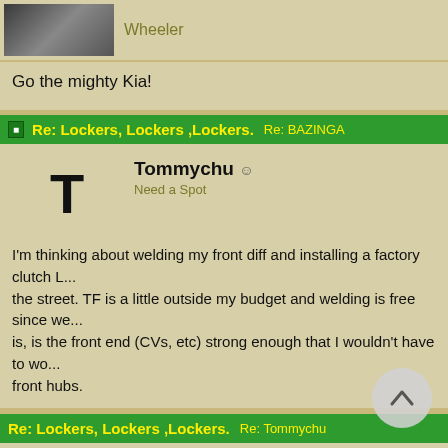[Figure (photo): Partial avatar image of a user at top of page]
Wheeler
Go the mighty Kia!
Re: Lockers, Lockers ,Lockers.  Re: BAZINGA
Tommychu
Need a Spot
I'm thinking about welding my front diff and installing a factory clutch L... the street. TF is a little outside my budget and welding is free since we... is, is the front end (CVs, etc) strong enough that I wouldn't have to wo... front hubs.
Re: Lockers, Lockers ,Lockers.  Re: Tommychu
[Figure (photo): Peabody avatar showing sky with clouds and dark landscape]
Peabody
Mudrunner
Welding the front diff is a bad idea. The difference in the wheels' rotati... vs the rear when turning. Factor in a series of articulating joints on the... a recipe for mechanical failure. Rear axles can get away with "Lincoln...